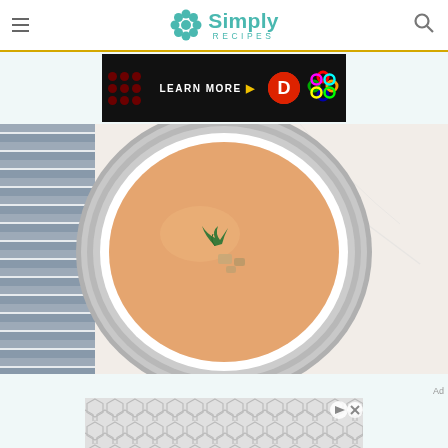Simply Recipes
[Figure (screenshot): Advertisement banner showing LEARN MORE text with arrow, a red D logo circle, and a colorful geometric flower/knot logo on black background]
[Figure (photo): Overhead view of a bowl of creamy orange/peach colored soup (lobster bisque or similar) in a white bowl with gray ridged rim, garnished with fresh herbs and small pieces of seafood or croutons, placed on a white surface with a blue and white striped cloth napkin to the left]
[Figure (screenshot): Bottom advertisement with geometric hexagon/diamond gray pattern, with a play/arrow icon and X close button in top right corner]